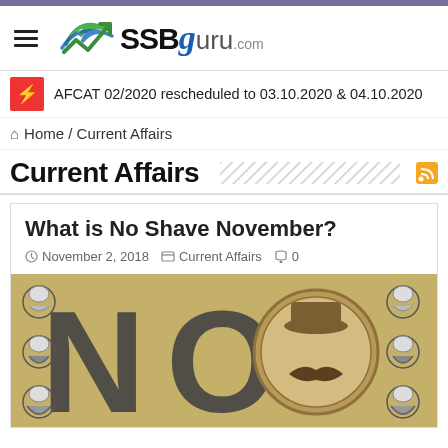[Figure (logo): SSBguru.com logo with checkmark icon]
AFCAT 02/2020 rescheduled to 03.10.2020 & 04.10.2020
Home / Current Affairs
Current Affairs
What is No Shave November?
November 2, 2018   Current Affairs   0
[Figure (illustration): No Shave November promotional image with large 'NO' text, circular badge with hat and mustache graphic, and illustrated bearded male faces on left and right sides]